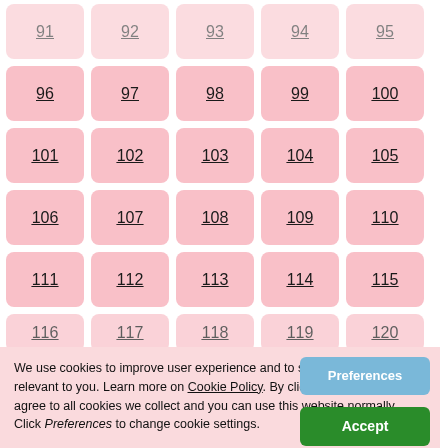91 92 93 94 95
96 97 98 99 100
101 102 103 104 105
106 107 108 109 110
111 112 113 114 115
116 117 118 119 120
We use cookies to improve user experience and to serve ads that are relevant to you. Learn more on Cookie Policy. By clicking Accept you agree to all cookies we collect and you can use this website normally. Click Preferences to change cookie settings.